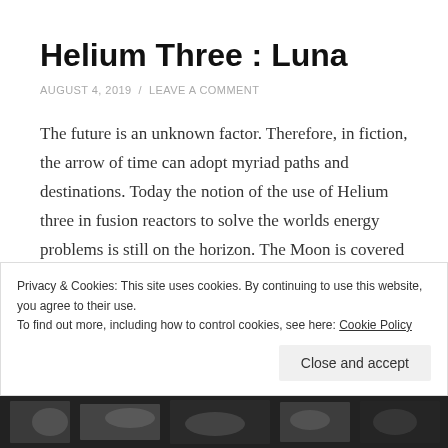Helium Three : Luna
AUGUST 4, 2019  /  LEAVE A COMMENT
The future is an unknown factor. Therefore, in fiction, the arrow of time can adopt myriad paths and destinations. Today the notion of the use of Helium three in fusion reactors to solve the worlds energy problems is still on the horizon. The Moon is covered with it. This fact I exploit as a plot device in the Luna story.
Privacy & Cookies: This site uses cookies. By continuing to use this website, you agree to their use.
To find out more, including how to control cookies, see here: Cookie Policy
[Figure (photo): Black and white photo strip at the bottom of the page]